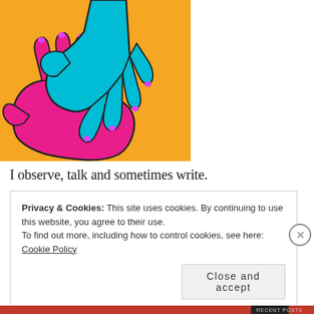[Figure (illustration): Pop-art style illustration of two hands — one cyan/teal reaching down from above, one hot pink/magenta cupping from below — against an orange/yellow background.]
I observe, talk and sometimes write.
Privacy & Cookies: This site uses cookies. By continuing to use this website, you agree to their use.
To find out more, including how to control cookies, see here:
Cookie Policy
Close and accept